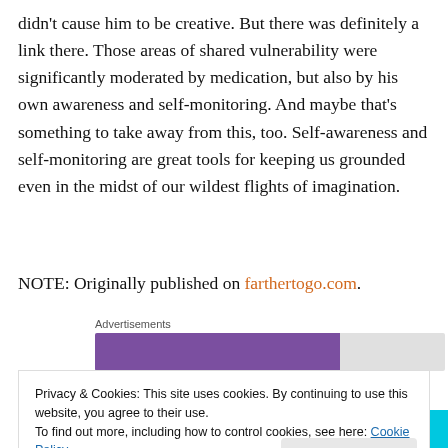didn't cause him to be creative. But there was definitely a link there. Those areas of shared vulnerability were significantly moderated by medication, but also by his own awareness and self-monitoring. And maybe that's something to take away from this, too. Self-awareness and self-monitoring are great tools for keeping us grounded even in the midst of our wildest flights of imagination.
NOTE: Originally published on farthertogo.com.
Advertisements
[Figure (other): Purple advertisement banner bar with grey background]
Privacy & Cookies: This site uses cookies. By continuing to use this website, you agree to their use. To find out more, including how to control cookies, see here: Cookie Policy
Close and accept
subscriptions online